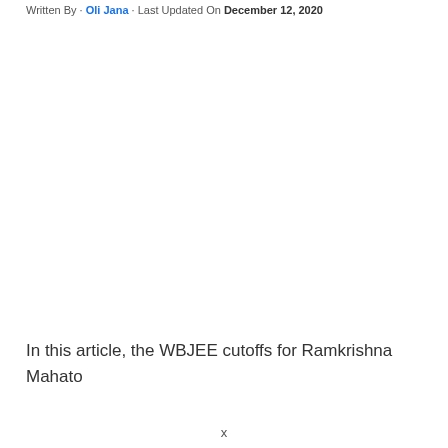Written By · Oli Jana · Last Updated On December 12, 2020
In this article, the WBJEE cutoffs for Ramkrishna Mahato